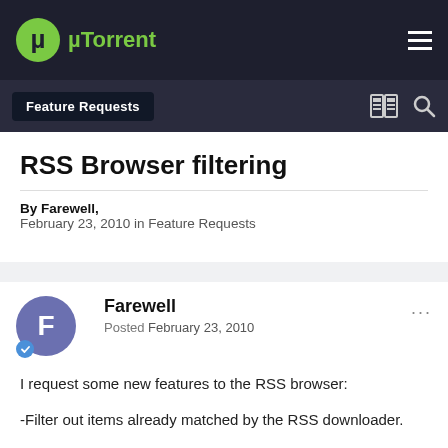µTorrent — Feature Requests
RSS Browser filtering
By Farewell,
February 23, 2010 in Feature Requests
Farewell
Posted February 23, 2010
I request some new features to the RSS browser:

-Filter out items already matched by the RSS downloader.

-Keep all old items cached in the list.

Additionaly consider adding additional user-customised filters